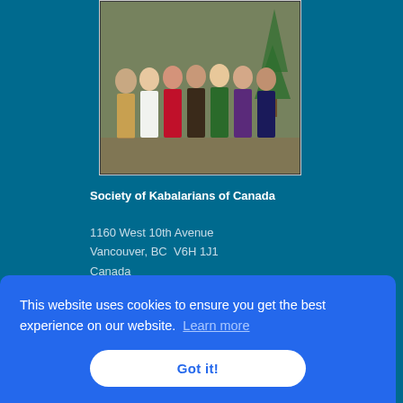[Figure (photo): Group photo of approximately 10 people dressed in formal attire, standing together indoors near a Christmas tree. The image is framed with a thin border.]
Society of Kabalarians of Canada
1160 West 10th Avenue
Vancouver, BC  V6H 1J1
Canada
TALK TO US
This website uses cookies to ensure you get the best experience on our website. Learn more
Got it!